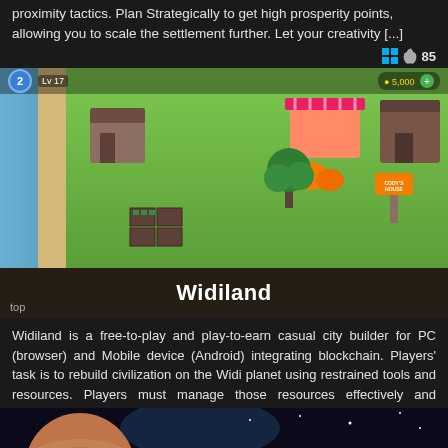proximity tactics. Plan Strategically to get high prosperity points, allowing you to scale the settlement further. Let your creativity [...]
[Figure (screenshot): Top-down view of a casual city-builder game showing green land, water/beach on the left, buildings, trees, farm plots, and a HUD with level 2 and 5,000 coins.]
Widiland
Widiland is a free-to-play and play-to-earn casual city builder for PC (browser) and Mobile device (Android) integrating blockchain. Players' task is to rebuild civilization on the Widi planet using restrained tools and resources. Players must manage those resources effectively and increase [...]
[Figure (screenshot): Bottom portion of the page showing the top of a space/planet screenshot with a large planet and dark space background.]